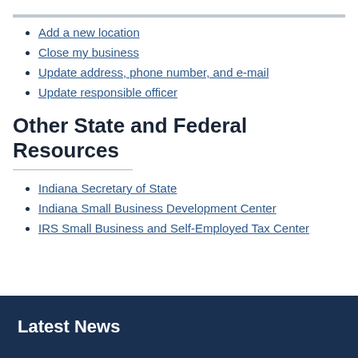Add a new location
Close my business
Update address, phone number, and e-mail
Update responsible officer
Other State and Federal Resources
Indiana Secretary of State
Indiana Small Business Development Center
IRS Small Business and Self-Employed Tax Center
Latest News